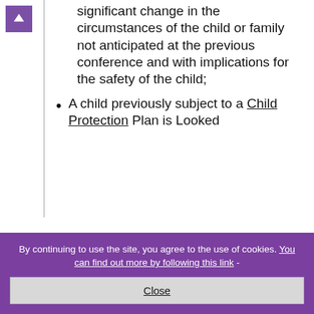significant change in the circumstances of the child or family not anticipated at the previous conference and with implications for the safety of the child;
A child previously subject to a Child Protection Plan is Looked
By continuing to use the site, you agree to the use of cookies. You can find out more by following this link -